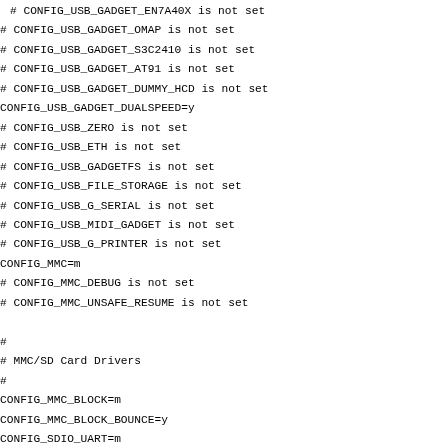# CONFIG_USB_GADGET_EN7A40X is not set
# CONFIG_USB_GADGET_OMAP is not set
# CONFIG_USB_GADGET_S3C2410 is not set
# CONFIG_USB_GADGET_AT91 is not set
# CONFIG_USB_GADGET_DUMMY_HCD is not set
CONFIG_USB_GADGET_DUALSPEED=y
# CONFIG_USB_ZERO is not set
# CONFIG_USB_ETH is not set
# CONFIG_USB_GADGETFS is not set
# CONFIG_USB_FILE_STORAGE is not set
# CONFIG_USB_G_SERIAL is not set
# CONFIG_USB_MIDI_GADGET is not set
# CONFIG_USB_G_PRINTER is not set
CONFIG_MMC=m
# CONFIG_MMC_DEBUG is not set
# CONFIG_MMC_UNSAFE_RESUME is not set

#
# MMC/SD Card Drivers
#
CONFIG_MMC_BLOCK=m
CONFIG_MMC_BLOCK_BOUNCE=y
CONFIG_SDIO_UART=m

#
# MMC/SD Host Controller Drivers
#
CONFIG_MMC_SDHCI=m
CONFIG_MMC_RICOH_MMC=m
# CONFIG_MMC_WBSD is not set
# CONFIG_MMC_TIFM_SD is not set